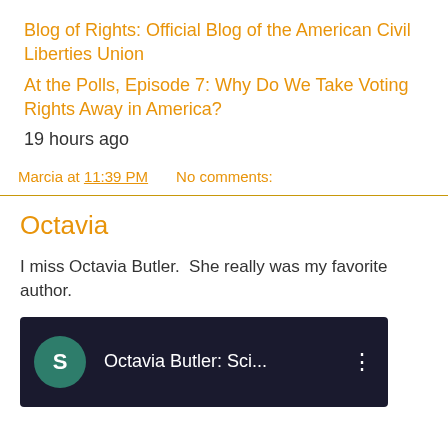Blog of Rights: Official Blog of the American Civil Liberties Union
At the Polls, Episode 7: Why Do We Take Voting Rights Away in America?
19 hours ago
Marcia at 11:39 PM   No comments:
Octavia
I miss Octavia Butler.  She really was my favorite author.
[Figure (screenshot): Video thumbnail showing 'Octavia Butler: Sci...' with a dark background, a teal circle icon with 'S', and a vertical dots menu icon]